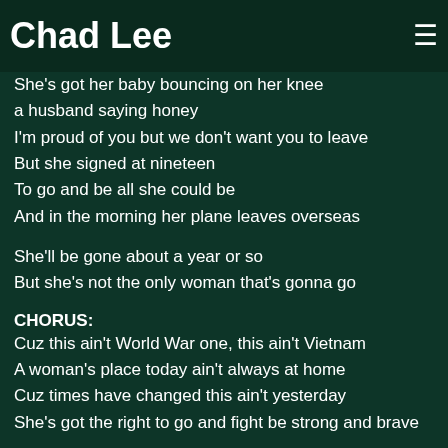Chad Lee
She's got her baby bouncing on her knee
a husband saying honey
I'm proud of you but we don't want you to leave
But she signed at nineteen
To go and be all she could be
And in the morning her plane leaves overseas
She'll be gone about a year or so
But she's not the only woman that's gonna go
CHORUS:
Cuz this ain't World War one, this ain't Vietnam
A woman's place today ain't always at home
Cuz times have changed this ain't yesterday
She's got the right to go and fight be strong and brave